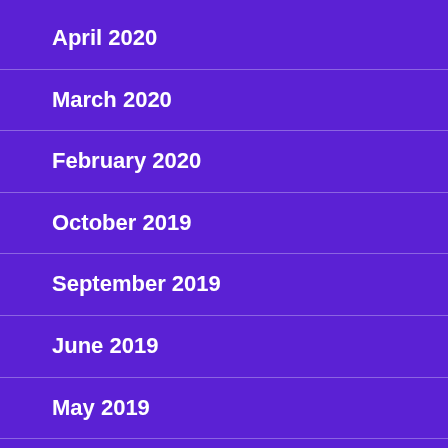April 2020
March 2020
February 2020
October 2019
September 2019
June 2019
May 2019
January 2019
October 2018